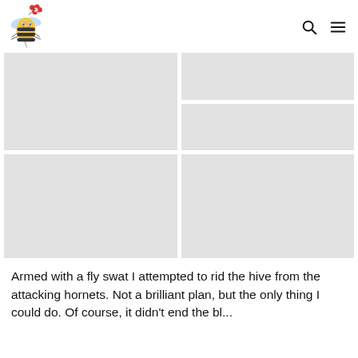Bee logo with navigation icons (search and hamburger menu)
[Figure (photo): Gray placeholder image, large left top]
[Figure (photo): Gray placeholder image, small right top]
[Figure (photo): Gray placeholder image, small right bottom]
[Figure (photo): Gray placeholder image, large bottom left]
[Figure (photo): Gray placeholder image, large bottom right]
Armed with a fly swat I attempted to rid the hive from the attacking hornets. Not a brilliant plan, but the only thing I could do. Of course, it didn't end the bl...